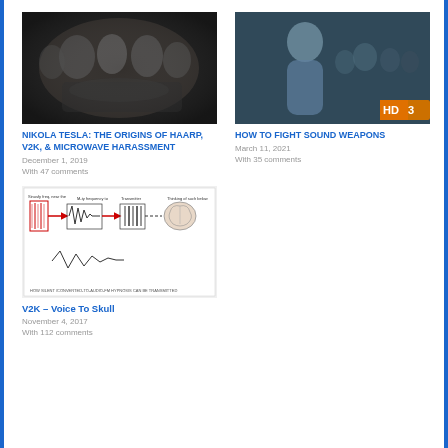[Figure (photo): Black and white historical photo of people seated around a table, resembling a séance or Victorian gathering]
NIKOLA TESLA: THE ORIGINS OF HAARP, V2K, & MICROWAVE HARASSMENT
December 1, 2019
With 47 comments
[Figure (photo): Movie/TV still showing a person in foreground with group behind, HD3 watermark in corner]
HOW TO FIGHT SOUND WEAPONS
March 11, 2021
With 35 comments
[Figure (schematic): Diagram showing how silent subliminal hypnosis can be transmitted via V2K – Voice To Skull technology, with waveforms and brain illustration]
V2K – Voice To Skull
November 4, 2017
With 112 comments